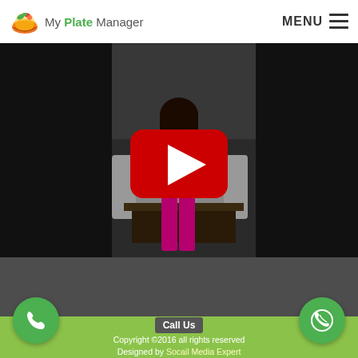My Plate Manager — MENU
[Figure (screenshot): YouTube-style video thumbnail showing a woman in magenta pants and dark top standing in a living room, with a red YouTube play button overlay in the center]
Call Us
Copyright ©2016 all rights reserved
Designed by Socail Media Expert